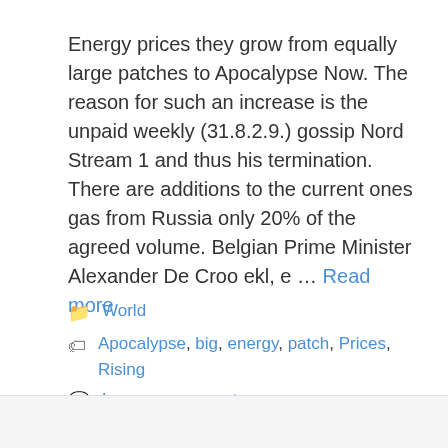Energy prices they grow from equally large patches to Apocalypse Now. The reason for such an increase is the unpaid weekly (31.8.2.9.) gossip Nord Stream 1 and thus his termination. There are additions to the current ones gas from Russia only 20% of the agreed volume. Belgian Prime Minister Alexander De Croo ekl, e … Read more
World
Apocalypse, big, energy, patch, Prices, Rising
Leave a comment